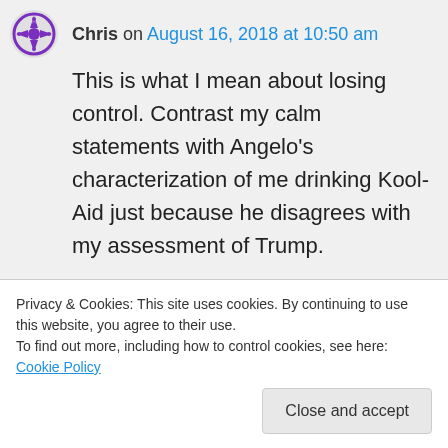Chris on August 16, 2018 at 10:50 am
This is what I mean about losing control. Contrast my calm statements with Angelo's characterization of me drinking Kool-Aid just because he disagrees with my assessment of Trump.
The bottom line is that Trump supporters in 2016 knew we faced long odds. We were told repeatedly on, they indicated Clinton would end
Privacy & Cookies: This site uses cookies. By continuing to use this website, you agree to their use.
To find out more, including how to control cookies, see here: Cookie Policy
Close and accept